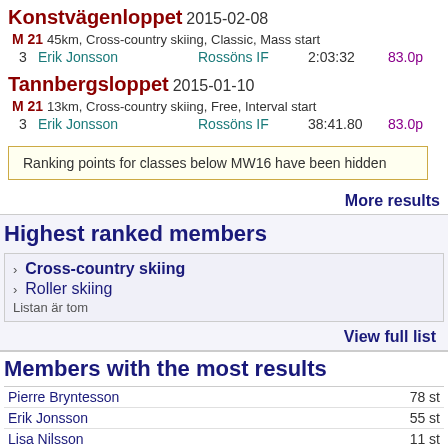Konstvägenloppet 2015-02-08
M 21 45km, Cross-country skiing, Classic, Mass start
| Pos | Name | Club | Time | Points |
| --- | --- | --- | --- | --- |
| 3 | Erik Jonsson | Rossöns IF | 2:03:32 | 83.0p |
Tannbergsloppet 2015-01-10
M 21 13km, Cross-country skiing, Free, Interval start
| Pos | Name | Club | Time | Points |
| --- | --- | --- | --- | --- |
| 3 | Erik Jonsson | Rossöns IF | 38:41.80 | 83.0p |
Ranking points for classes below MW16 have been hidden
More results
Highest ranked members
Cross-country skiing
Roller skiing
Listan är tom
View full list
Members with the most results
| Name | Count |
| --- | --- |
| Pierre Bryntesson | 78 st |
| Erik Jonsson | 55 st |
| Lisa Nilsson | 11 st |
| Edvin Nilsson | 10 st |
| Adam Bryntesson | 7 st |
| Frida Östman | 6 st |
| Louise Dahlén Sjöberg | 5 st |